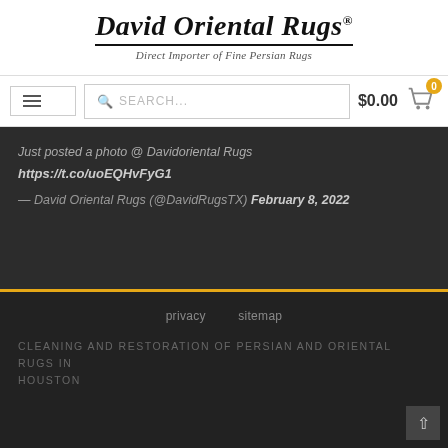David Oriental Rugs®
Direct Importer of Fine Persian Rugs
[Figure (screenshot): Navigation bar with hamburger menu, search box, and shopping cart showing $0.00 with 0 items badge]
Just posted a photo @ Davidoriental Rugs https://t.co/uoEQHvFyG1
— David Oriental Rugs (@DavidRugsTX) February 8, 2022
privacy   sitemap
CLEANING AND RESTORATION OF PERSIAN AND ORIENTAL RUGS IN HOUSTON